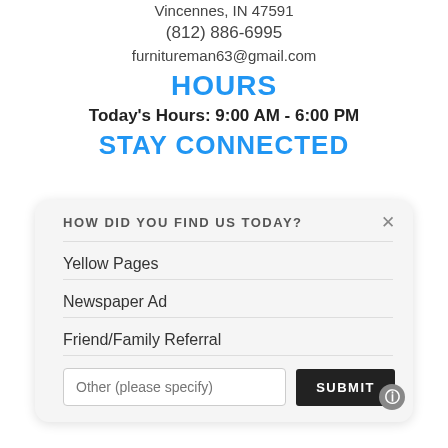Vincennes, IN 47591
(812) 886-6995
furnitureman63@gmail.com
HOURS
Today's Hours: 9:00 AM - 6:00 PM
STAY CONNECTED
HOW DID YOU FIND US TODAY?
Yellow Pages
Newspaper Ad
Friend/Family Referral